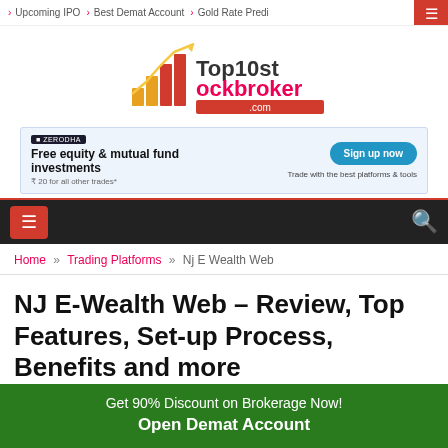Upcoming IPO » Best Demat Account » Gold Rate Predi...
[Figure (logo): Top10stockbroker.com logo with bar chart icon in orange/yellow]
[Figure (infographic): Zerodha advertisement banner: Free equity & mutual fund investments, ₹20 for all other trades*, Sign up now, Trade with the best platforms & tools]
Navigation bar with hamburger menu and search icon
Home » Trading Platforms » Nj E Wealth Web
NJ E-Wealth Web – Review, Top Features, Set-up Process, Benefits and more
Get 90% Discount on Brokerage Now! Open Demat Account